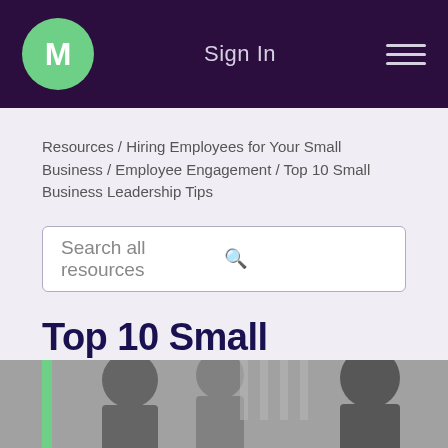M  Sign In  ≡
Resources / Hiring Employees for Your Small Business / Employee Engagement / Top 10 Small Business Leadership Tips
Search all resources
Top 10 Small Business Leadership Tips
[Figure (photo): Black and white photo of people in a business/outdoor setting, partially visible at bottom of page]